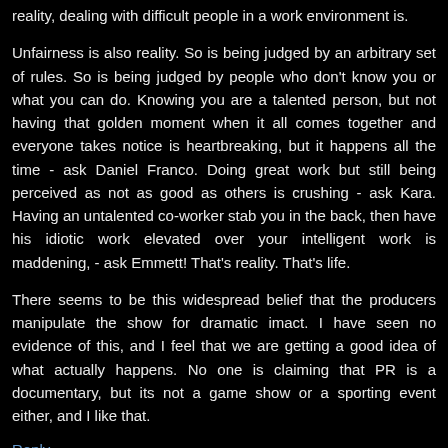reality, dealing with difficult people in a work environment is.
Unfairness is also reality. So is being judged by an arbitrary set of rules. So is being judged by people who don't know you or what you can do. Knowing you are a talented person, but not having that golden moment when it all comes together and everyone takes notice is heartbreaking, but it happens all the time - ask Daniel Franco. Doing great work but still being perceived as not as good as others is crushing - ask Kara. Having an untalented co-worker stab you in the back, then have his idiotic work elevated over your intelligent work is maddening, - ask Emmett! That's reality. That's life.
There seems to be this widespread belief that the producers manipulate the show for dramatic imact. I have seen no evidence of this, and I feel that we are getting a good idea of what actually happens. No one is claiming that PR is a documentary, but its not a game show or a sporting event either, and I like that.
Reply